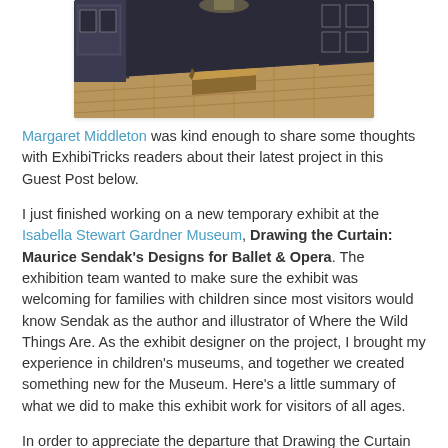[Figure (photo): Interior of a museum gallery with dark blue-grey walls, wooden floor, and a central wooden block/pedestal. Framed artworks visible on walls in the background.]
Margaret Middleton was kind enough to share some thoughts with ExhibiTricks readers about their latest project in this Guest Post below.
I just finished working on a new temporary exhibit at the Isabella Stewart Gardner Museum, Drawing the Curtain: Maurice Sendak's Designs for Ballet & Opera. The exhibition team wanted to make sure the exhibit was welcoming for families with children since most visitors would know Sendak as the author and illustrator of Where the Wild Things Are. As the exhibit designer on the project, I brought my experience in children's museums, and together we created something new for the Museum. Here's a little summary of what we did to make this exhibit work for visitors of all ages.
In order to appreciate the departure that Drawing the Curtain